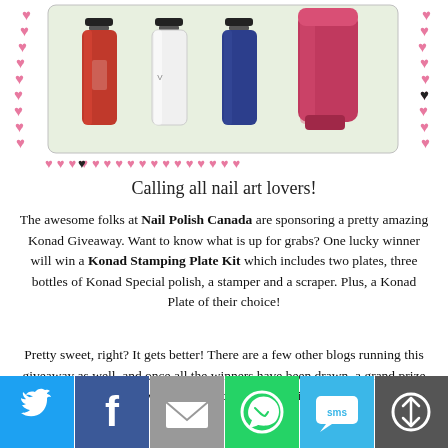[Figure (photo): Product photo of a Konad Stamping Plate Kit set showing nail polish bottles (red, white, blue) and a pink stamper tool, with decorative pink heart border around the image.]
Calling all nail art lovers!
The awesome folks at Nail Polish Canada are sponsoring a pretty amazing Konad Giveaway. Want to know what is up for grabs? One lucky winner will win a Konad Stamping Plate Kit which includes two plates, three bottles of Konad Special polish, a stamper and a scraper. Plus, a Konad Plate of their choice!
Pretty sweet, right? It gets better! There are a few other blogs running this giveaway as well, and once all the winners have been drawn, a grand prize winner will be selected from to receive $200
[Figure (infographic): Social sharing bar with icons for Twitter, Facebook, Email, WhatsApp, SMS, and More sharing options.]